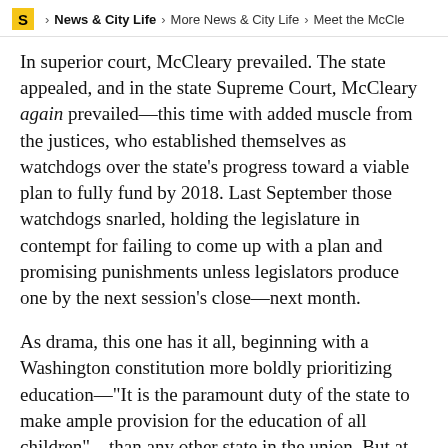S > News & City Life > More News & City Life > Meet the McCle
In superior court, McCleary prevailed. The state appealed, and in the state Supreme Court, McCleary again prevailed—this time with added muscle from the justices, who established themselves as watchdogs over the state's progress toward a viable plan to fully fund by 2018. Last September those watchdogs snarled, holding the legislature in contempt for failing to come up with a plan and promising punishments unless legislators produce one by the next session's close—next month.
As drama, this one has it all, beginning with a Washington constitution more boldly prioritizing education—"It is the paramount duty of the state to make ample provision for the education of all children"—than any other state in the union. But at the quiet center is a small-town working wife and mother of two named Stephanie McCleary, who doesn't go a day without seeing her name attached to what is perhaps the biggest legislative-versus-judicial showdown in state history.